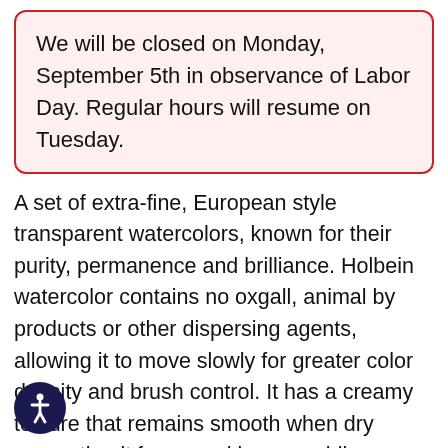We will be closed on Monday, September 5th in observance of Labor Day. Regular hours will resume on Tuesday.
A set of extra-fine, European style transparent watercolors, known for their purity, permanence and brilliance. Holbein watercolor contains no oxgall, animal by products or other dispersing agents, allowing it to move slowly for greater color density and brush control. It has a creamy texture that remains smooth when dry preventing it from cracking, crumbling, chipping or molding in the palette. This 18-color set includes crimson lake, rose madder, vermilion hue, jaune brilliant, permanent yellow lemon, permanent yellow deep, yellow ochre, permanent green #1, permanent green #2, viridian , compose blue, cobalt blue, Prussian blue, mineral violet, burnt sienna, burnt umber, ivory black